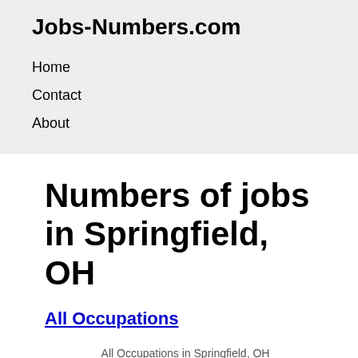Jobs-Numbers.com
Home
Contact
About
Numbers of jobs in Springfield, OH
All Occupations
All Occupations in Springfield, OH